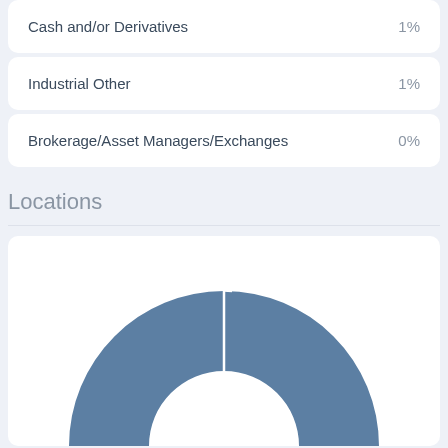Cash and/or Derivatives 1%
Industrial Other 1%
Brokerage/Asset Managers/Exchanges 0%
Locations
[Figure (donut-chart): Partial donut chart showing location distribution, predominantly one large segment in steel blue color, cut at the top by a thin dividing line.]